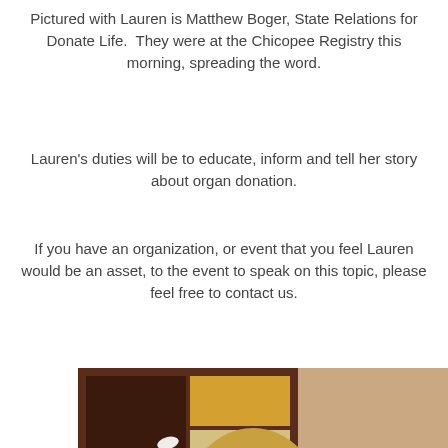Pictured with Lauren is Matthew Boger, State Relations for Donate Life.  They were at the Chicopee Registry this morning, spreading the word.
Lauren's duties will be to educate, inform and tell her story about organ donation.
If you have an organization, or event that you feel Lauren would be an asset, to the event to speak on this topic, please feel free to contact us.
[Figure (photo): A smiling woman with blonde hair photographed indoors, with a decorative painting featuring flamingos in the background and a framed photo visible to the right.]